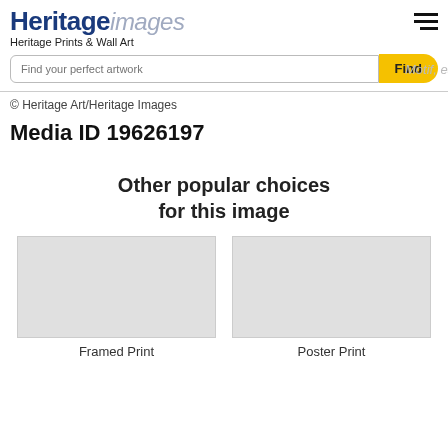Heritage images
Heritage Prints & Wall Art
Find your perfect artwork | Motif, early... Find
© Heritage Art/Heritage Images
Media ID 19626197
Other popular choices for this image
Framed Print
Poster Print